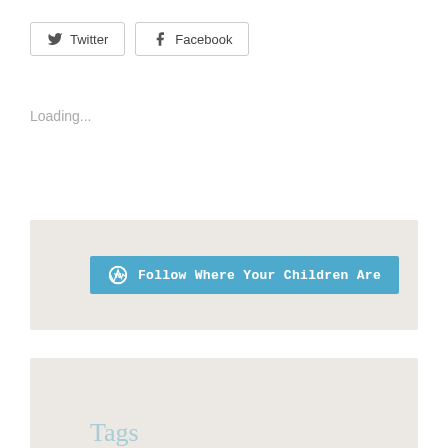[Figure (other): Twitter and Facebook social share buttons with icons]
Loading...
[Figure (other): WordPress follow button reading 'Follow Where Your Children Are' on a light gray background]
Tags